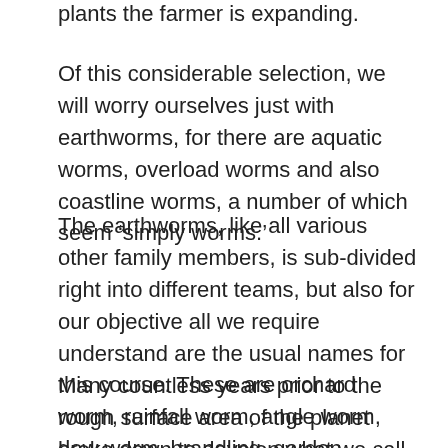plants the farmer is expanding.
Of this considerable selection, we will worry ourselves just with earthworms, for there are aquatic worms, overload worms and also coastline worms, a number of which seem ‘simply worms.’
The earthworms, like all various other family members, is sub-divided right into different teams, but also for our objective all we require understand are the usual names for this course. These are orchard worm, rainfall worm, angle worm, dew worm, brandling, garden compost worm, evening spider, fish worm, evening lions as well as likewise detailed names acquainted to particular locations of the USA.
Many countless years prior to the rough surface area of the planet broke down to develop what we call dirt, a substantial checklist of plants as well as pets stayed in